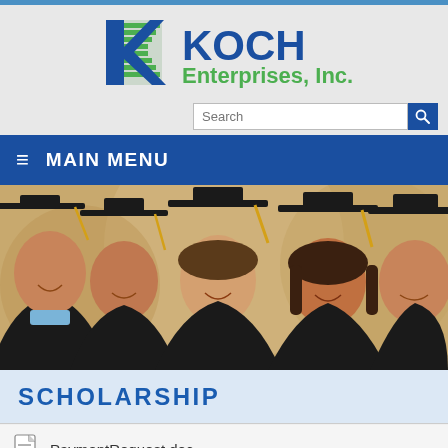[Figure (logo): Koch Enterprises, Inc. logo with stylized K and green/blue horizontal lines]
Search
MAIN MENU
[Figure (photo): Five smiling graduates in black caps and gowns]
SCHOLARSHIP
PaymentRequest.doc